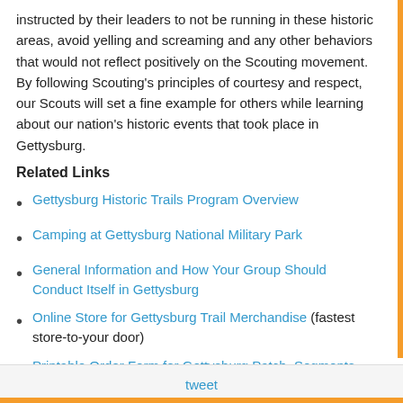instructed by their leaders to not be running in these historic areas, avoid yelling and screaming and any other behaviors that would not reflect positively on the Scouting movement. By following Scouting's principles of courtesy and respect, our Scouts will set a fine example for others while learning about our nation's historic events that took place in Gettysburg.
Related Links
Gettysburg Historic Trails Program Overview
Camping at Gettysburg National Military Park
General Information and How Your Group Should Conduct Itself in Gettysburg
Online Store for Gettysburg Trail Merchandise (fastest store-to-your door)
Printable Order Form for Gettysburg Patch, Segments and Trail Medals (PDF)
tweet